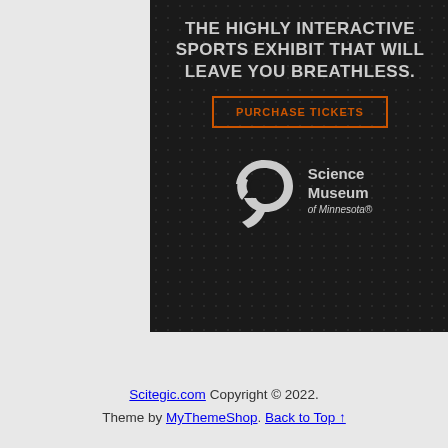[Figure (illustration): Advertisement banner on dark textured background for Science Museum of Minnesota sports exhibit. Text reads 'THE HIGHLY INTERACTIVE SPORTS EXHIBIT THAT WILL LEAVE YOU BREATHLESS.' with an orange-bordered 'PURCHASE TICKETS' button and the Science Museum of Minnesota spiral logo with name.]
Scitegic.com Copyright © 2022. Theme by MyThemeShop. Back to Top ↑